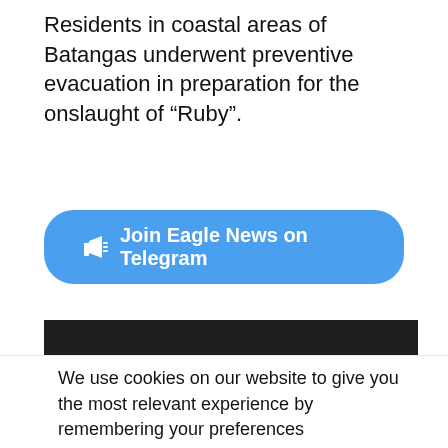Residents in coastal areas of Batangas underwent preventive evacuation in preparation for the onslaught of “Ruby”.
[Figure (other): Button linking to Join Eagle News on Telegram with megaphone icon, blue rounded rectangle button]
[Figure (screenshot): Embedded video player showing 'Video unavailable - This video is unavailable' message on dark background]
We use cookies on our website to give you the most relevant experience by remembering your preferences and repeat visits. By clicking “Accept” you consent to the...